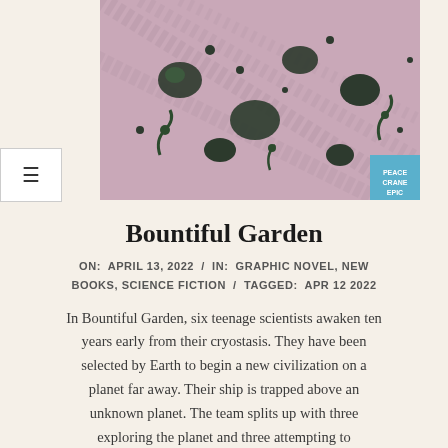[Figure (illustration): Book cover illustration for Bountiful Garden showing stylized alien creatures and plant forms on a pink/purple background with a blue corner badge]
Bountiful Garden
ON: APRIL 13, 2022 / IN: GRAPHIC NOVEL, NEW BOOKS, SCIENCE FICTION / TAGGED: APR 12 2022
In Bountiful Garden, six teenage scientists awaken ten years early from their cryostasis. They have been selected by Earth to begin a new civilization on a planet far away. Their ship is trapped above an unknown planet. The team splits up with three exploring the planet and three attempting to
CONTINUE READING